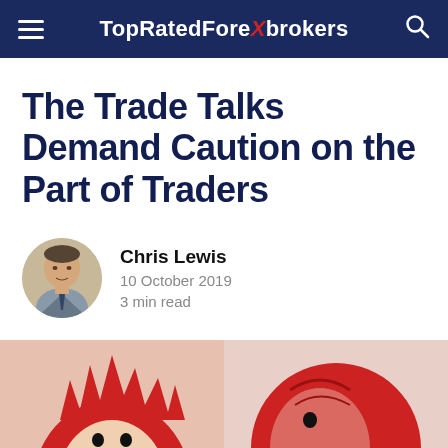TopRatedForeXbrokers
The Trade Talks Demand Caution on the Part of Traders
Chris Lewis
10 October 2019
3 min read
[Figure (illustration): Two red and white illustrated faces/heads at the bottom of the page, partially cropped, representing two negotiating parties in trade talks.]